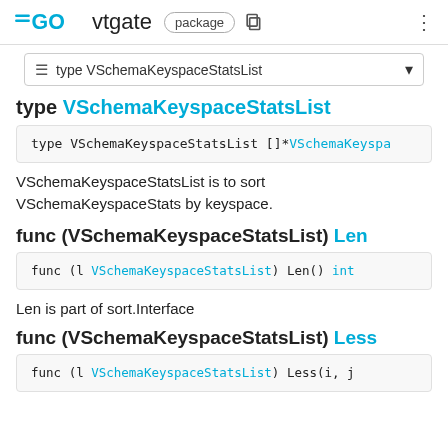GO vtgate package
≡ type VSchemaKeyspaceStatsList
type VSchemaKeyspaceStatsList
type VSchemaKeyspaceStatsList []*VSchemaKeyspa
VSchemaKeyspaceStatsList is to sort VSchemaKeyspaceStats by keyspace.
func (VSchemaKeyspaceStatsList) Len
func (l VSchemaKeyspaceStatsList) Len() int
Len is part of sort.Interface
func (VSchemaKeyspaceStatsList) Less
func (l VSchemaKeyspaceStatsList) Less(i, j